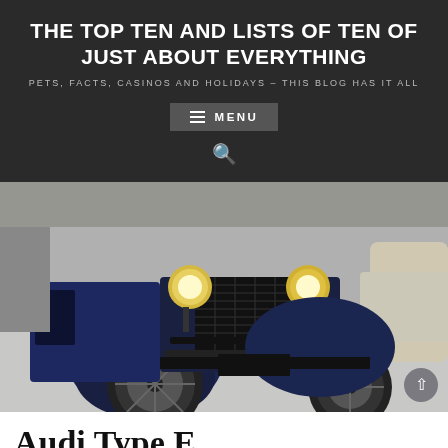THE TOP TEN AND LISTS OF TEN OF JUST ABOUT EVERYTHING
PETS, FACTS, CASINOS AND HOLIDAYS – THIS BLOG HAS IT ALL
≡ MENU
[Figure (photo): Front view of a vintage dark blue Audi Type E classic car with round headlights, visible grille, large round fenders and tires, and a license plate reading 158 W 68, photographed in a museum or show setting]
Audi Type E